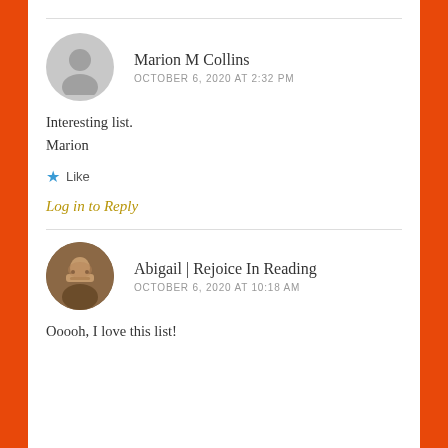[Figure (illustration): Gray circular avatar placeholder with a person silhouette icon for Marion M Collins]
Marion M Collins
OCTOBER 6, 2020 AT 2:32 PM
Interesting list.
Marion
★ Like
Log in to Reply
[Figure (photo): Circular avatar photo of Abigail from Rejoice In Reading, a person with glasses]
Abigail | Rejoice In Reading
OCTOBER 6, 2020 AT 10:18 AM
Ooooh, I love this list!